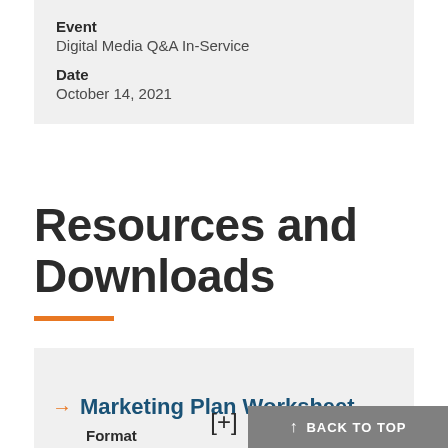Event
Digital Media Q&A In-Service
Date
October 14, 2021
Resources and Downloads
→ Marketing Plan Worksheet
Format
BACK TO TOP